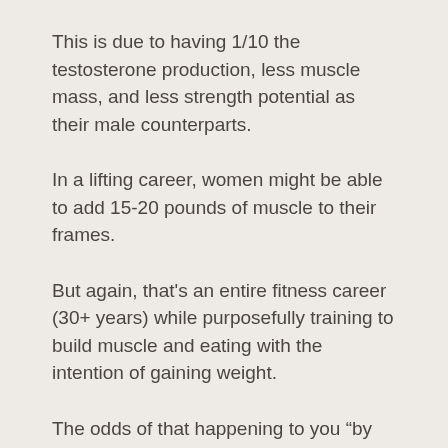This is due to having 1/10 the testosterone production, less muscle mass, and less strength potential as their male counterparts.
In a lifting career, women might be able to add 15-20 pounds of muscle to their frames.
But again, that's an entire fitness career (30+ years) while purposefully training to build muscle and eating with the intention of gaining weight.
The odds of that happening to you “by accident” are slim to none.